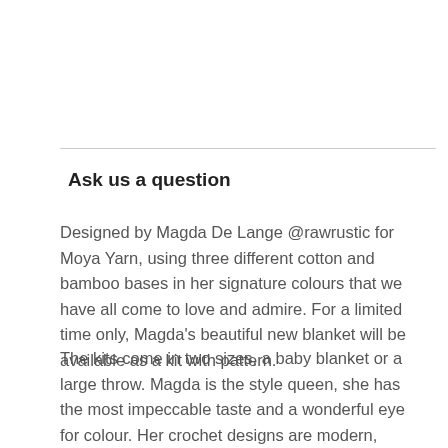Ask us a question
Designed by Magda De Lange @rawrustic for Moya Yarn, using three different cotton and bamboo bases in her signature colours that we have all come to love and admire. For a limited time only, Magda's beautiful new blanket will be available as a kit with pattern.
The kits come in two sizes, a baby blanket or a large throw. Magda is the style queen, she has the most impeccable taste and a wonderful eye for colour. Her crochet designs are modern, exciting and inspiring and this one is a real beauty. Suitable for a beginner or a great relaxing meditative project for the most